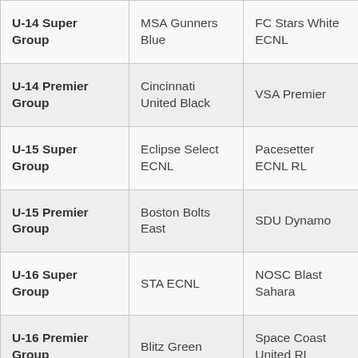| U-14 Super Group | MSA Gunners Blue | FC Stars White ECNL |
| U-14 Premier Group | Cincinnati United Black | VSA Premier |
| U-15 Super Group | Eclipse Select ECNL | Pacesetter ECNL RL |
| U-15 Premier Group | Boston Bolts East | SDU Dynamo |
| U-16 Super Group | STA ECNL | NOSC Blast Sahara |
| U-16 Premier Group | Blitz Green | Space Coast United RL |